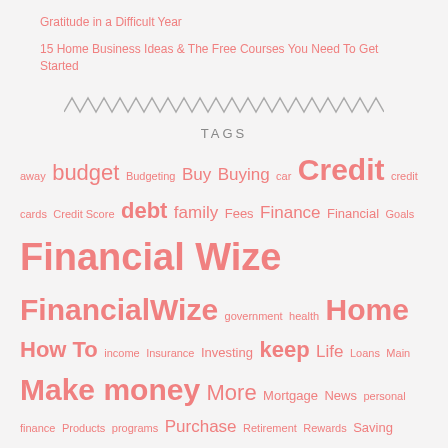Gratitude in a Difficult Year
15 Home Business Ideas & The Free Courses You Need To Get Started
TAGS
away budget Budgeting Buy Buying car Credit credit cards Credit Score debt family Fees Finance Financial Goals Financial Wize FinancialWize government health Home How To income Insurance Investing keep Life Loans Main Make money More Mortgage News personal finance Products programs Purchase Retirement Rewards Saving savings School Shopping Spending tax Travel